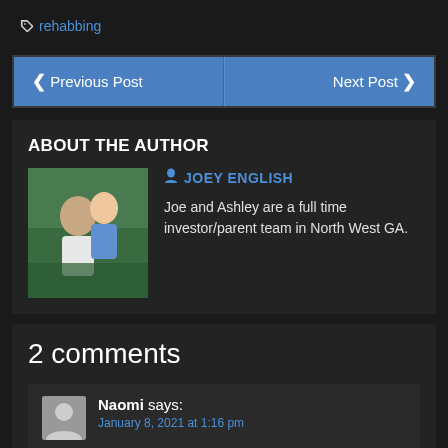rehabbing
< Previous Post    Next Post >
ABOUT THE AUTHOR
[Figure (photo): Photo of Joe and Ashley English, a couple posing outdoors]
JOEY ENGLISH
Joe and Ashley are a full time investor/parent team in North West GA.
2 comments
Naomi says:
January 8, 2021 at 1:16 pm